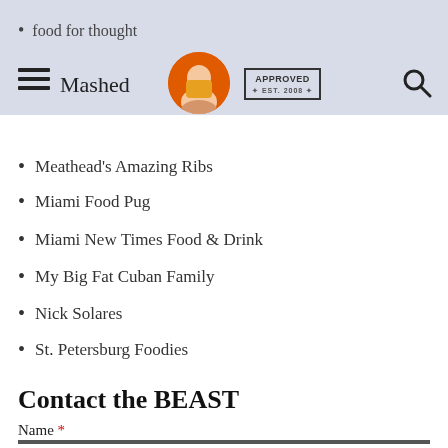Mashed | APPROVED EST. 2008
food for thought
Meathead's Amazing Ribs
Miami Food Pug
Miami New Times Food & Drink
My Big Fat Cuban Family
Nick Solares
St. Petersburg Foodies
Contact the BEAST
Name *